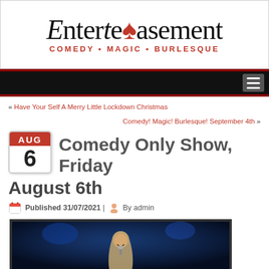[Figure (logo): Enterteasement logo with tagline: COMEDY • MAGIC • BURLESQUE]
Navigation bar with hamburger menu
« Have Your Self A Merry Little Lockdown Christmas
Comedy! Magic! Burlesque! September 4th »
Comedy Only Show, Friday August 6th
Published 31/07/2021 | By admin
[Figure (photo): Photo of a performer with long hair laughing on stage with blue lights]